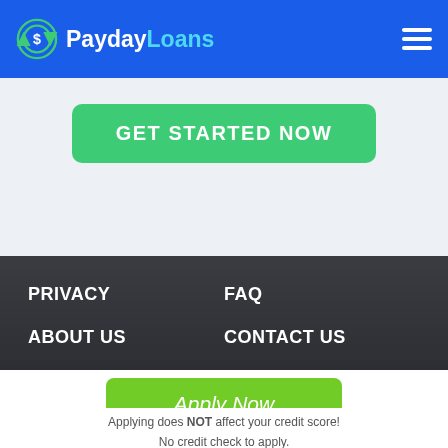PaydayLoans
[Figure (screenshot): GET STARTED NOW green button on light gray background]
[Figure (screenshot): Dark navigation footer with PRIVACY, FAQ, ABOUT US, CONTACT US links]
[Figure (screenshot): Apply Now green button]
Applying does NOT affect your credit score! No credit check to apply.